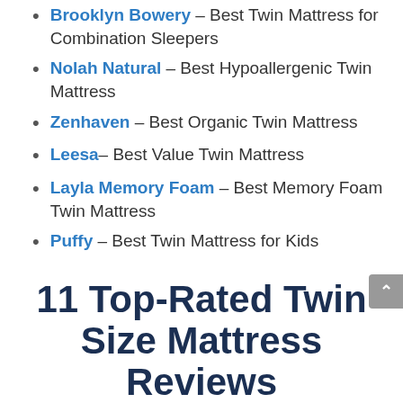Brooklyn Bowery – Best Twin Mattress for Combination Sleepers
Nolah Natural – Best Hypoallergenic Twin Mattress
Zenhaven – Best Organic Twin Mattress
Leesa– Best Value Twin Mattress
Layla Memory Foam – Best Memory Foam Twin Mattress
Puffy – Best Twin Mattress for Kids
11 Top-Rated Twin Size Mattress Reviews
Editor's Pick